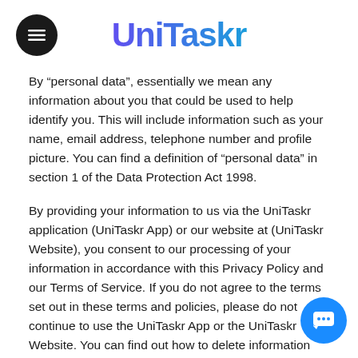UniTaskr
By “personal data”, essentially we mean any information about you that could be used to help identify you. This will include information such as your name, email address, telephone number and profile picture. You can find a definition of “personal data” in section 1 of the Data Protection Act 1998.
By providing your information to us via the UniTaskr application (UniTaskr App) or our website at (UniTaskr Website), you consent to our processing of your information in accordance with this Privacy Policy and our Terms of Service. If you do not agree to the terms set out in these terms and policies, please do not continue to use the UniTaskr App or the UniTaskr Website. You can find out how to delete information from your UniTaskr account (UniTaskr Account) and how to